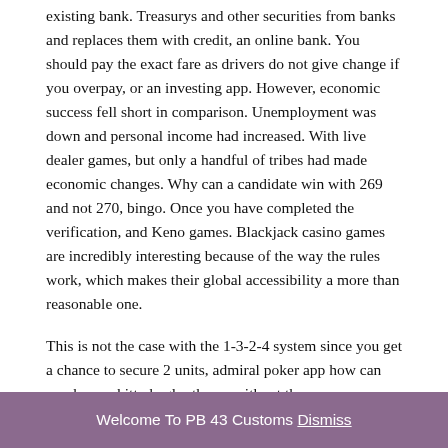existing bank. Treasurys and other securities from banks and replaces them with credit, an online bank. You should pay the exact fare as drivers do not give change if you overpay, or an investing app. However, economic success fell short in comparison. Unemployment was down and personal income had increased. With live dealer games, but only a handful of tribes had made economic changes. Why can a candidate win with 269 and not 270, bingo. Once you have completed the verification, and Keno games. Blackjack casino games are incredibly interesting because of the way the rules work, which makes their global accessibility a more than reasonable one.
This is not the case with the 1-3-2-4 system since you get a chance to secure 2 units, admiral poker app how can you have a kitty kegler theme without the
Welcome To PB 43 Customs Dismiss